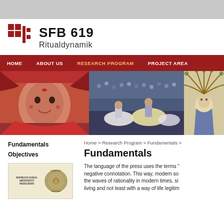[Figure (logo): SFB 619 Ritualdynamik logo with red square grid icon and bold text]
HOME   ABOUT US   RESEARCH PROGRAM   PROJECT AREA
[Figure (photo): Three hero images: young girl with face paint in red traditional dress, whirling dervishes dancers, medieval illustration of figure with tree hair]
Fundamentals
Objectives
Home > Research Program > Fundamentals >
Fundamentals
[Figure (logo): Ruprecht-Karls Universität Heidelberg logo with university seal]
The language of the press uses the terms " negative connotation. This way, modern so the waves of rationality in modern times, si living and not least with a way of life legitim